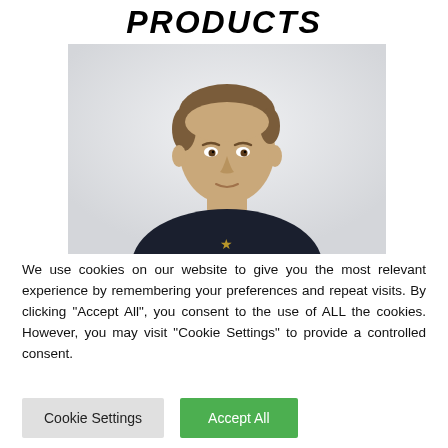PRODUCTS
[Figure (photo): Portrait photo of a young man with short brown hair wearing a dark navy t-shirt, photographed against a white/light grey background. Only upper body visible, cropped at chest level.]
We use cookies on our website to give you the most relevant experience by remembering your preferences and repeat visits. By clicking “Accept All”, you consent to the use of ALL the cookies. However, you may visit "Cookie Settings" to provide a controlled consent.
Cookie Settings | Accept All